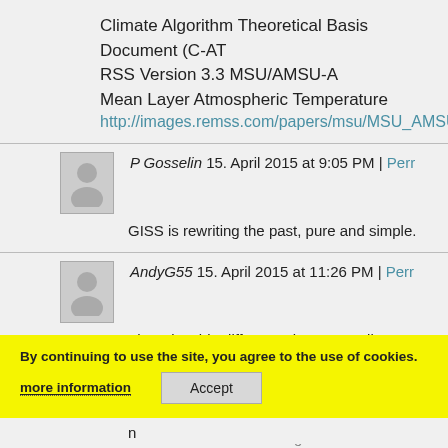Climate Algorithm Theoretical Basis Document (C-AT
RSS Version 3.3 MSU/AMSU-A
Mean Layer Atmospheric Temperature
http://images.remss.com/papers/msu/MSU_AMSU_C-
P Gosselin 15. April 2015 at 9:05 PM | Perr
GISS is rewriting the past, pure and simple.
AndyG55 15. April 2015 at 11:26 PM | Perr
There is a big difference between adjustments for scientific and technical issues, as in UAH and RSS
And the wholesale cooling of the whole of the pas data to create a... to forward an agend
The first is science, (which DA ignores and does n